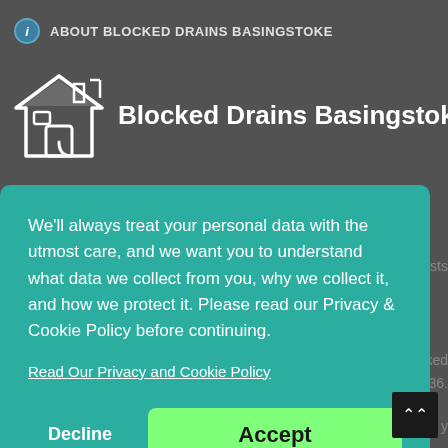ABOUT BLOCKED DRAINS BASINGSTOKE
[Figure (logo): Blocked Drains Basingstoke logo with house/drain icon and bold white text]
We'll always treat your personal data with the utmost care, and we want you to understand what data we collect from you, why we collect it, and how we protect it. Please read our Privacy & Cookie Policy before continuing.
Read Our Privacy and Cookie Policy
Decline
Accept